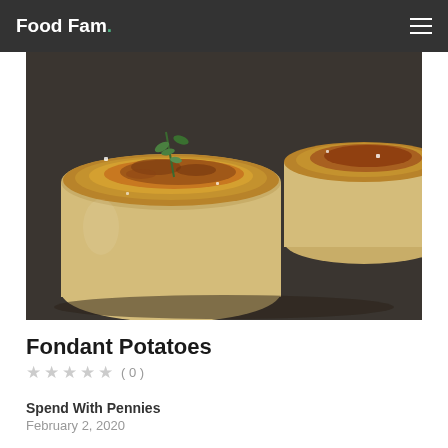Food Fam .
[Figure (photo): Close-up photo of fondant potatoes — cylindrical golden-brown potato rounds with crispy caramelized tops, garnished with fresh thyme sprigs, sprinkled with salt flakes, resting in a dark roasting pan. A second partial potato is visible on the right edge.]
Fondant Potatoes
★ ★ ★ ★ ★  ( 0 )
Spend With Pennies
February 2, 2020